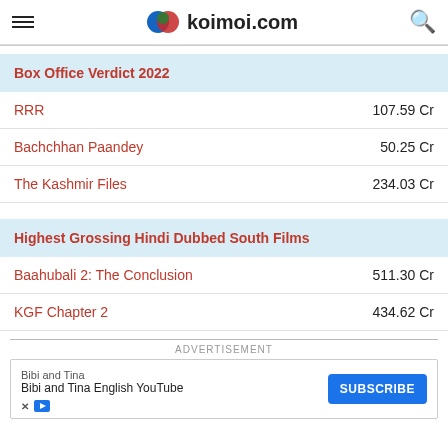koimoi.com
Box Office Verdict 2022
| Film | Collection |
| --- | --- |
| RRR | 107.59 Cr |
| Bachchhan Paandey | 50.25 Cr |
| The Kashmir Files | 234.03 Cr |
Highest Grossing Hindi Dubbed South Films
| Film | Collection |
| --- | --- |
| Baahubali 2: The Conclusion | 511.30 Cr |
| KGF Chapter 2 | 434.62 Cr |
[Figure (other): Advertisement banner for Bibi and Tina English YouTube channel with Subscribe button]